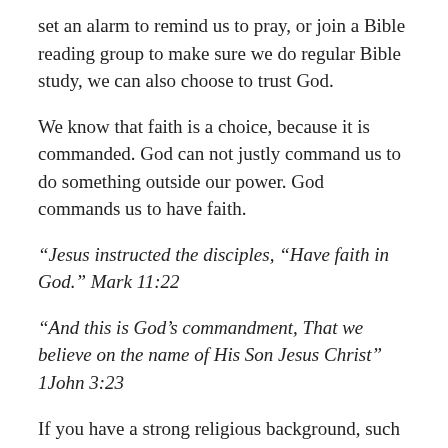set an alarm to remind us to pray, or join a Bible reading group to make sure we do regular Bible study, we can also choose to trust God.
We know that faith is a choice, because it is commanded. God can not justly command us to do something outside our power. God commands us to have faith.
“Jesus instructed the disciples, “Have faith in God.” Mark 11:22
“And this is God’s commandment, That we believe on the name of His Son Jesus Christ” 1John 3:23
If you have a strong religious background, such as being raised to be very diligent in a range of